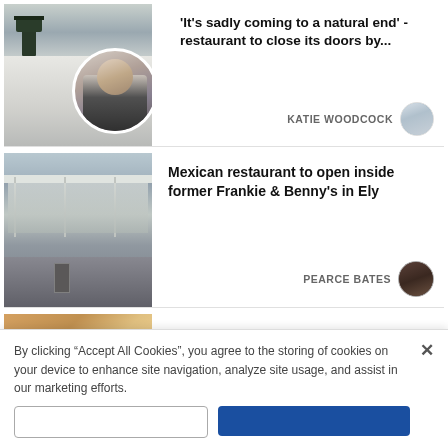[Figure (photo): Article card 1: Photo of restaurant exterior with sign and circular inset portrait of a man in a black shirt holding a menu]
'It's sadly coming to a natural end' - restaurant to close its doors by...
KATIE WOODCOCK
[Figure (photo): Article card 2: Photo of former Frankie & Benny's building exterior with canopy structure]
Mexican restaurant to open inside former Frankie & Benny's in Ely
PEARCE BATES
[Figure (photo): Article card 3 (partial): Cropped image, partially visible]
Infamous BBC to be acquired by sister...
By clicking "Accept All Cookies", you agree to the storing of cookies on your device to enhance site navigation, analyze site usage, and assist in our marketing efforts.